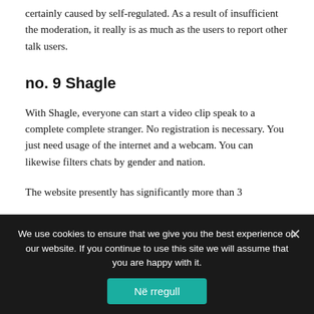certainly caused by self-regulated. As a result of insufficient the moderation, it really is as much as the users to report other talk users.
no. 9 Shagle
With Shagle, everyone can start a video clip speak to a complete complete stranger. No registration is necessary. You just need usage of the internet and a webcam. You can likewise filters chats by gender and nation.
The website presently has significantly more than 3
We use cookies to ensure that we give you the best experience on our website. If you continue to use this site we will assume that you are happy with it.
Në rregull